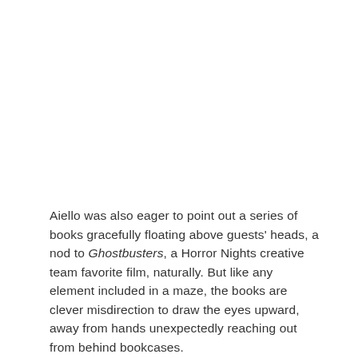Aiello was also eager to point out a series of books gracefully floating above guests' heads, a nod to Ghostbusters, a Horror Nights creative team favorite film, naturally. But like any element included in a maze, the books are clever misdirection to draw the eyes upward, away from hands unexpectedly reaching out from behind bookcases.